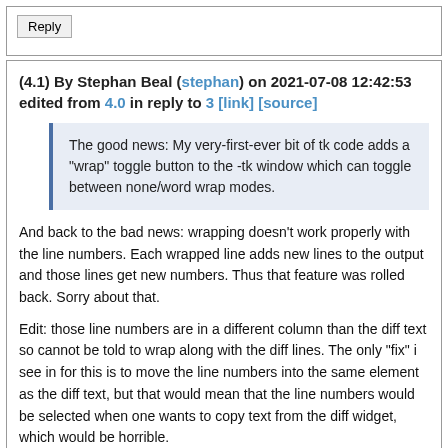Reply
(4.1) By Stephan Beal (stephan) on 2021-07-08 12:42:53 edited from 4.0 in reply to 3 [link] [source]
The good news: My very-first-ever bit of tk code adds a "wrap" toggle button to the -tk window which can toggle between none/word wrap modes.
And back to the bad news: wrapping doesn't work properly with the line numbers. Each wrapped line adds new lines to the output and those lines get new numbers. Thus that feature was rolled back. Sorry about that.
Edit: those line numbers are in a different column than the diff text so cannot be told to wrap along with the diff lines. The only "fix" i see in for this is to move the line numbers into the same element as the diff text, but that would mean that the line numbers would be selected when one wants to copy text from the diff widget, which would be horrible.